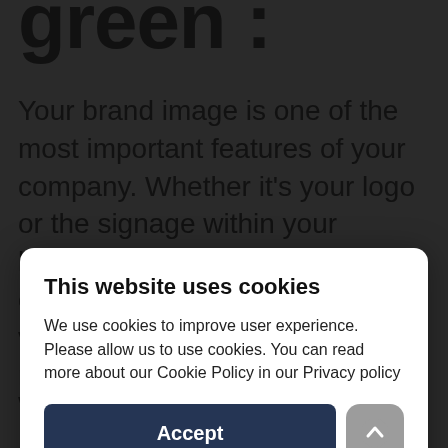green :
Your brand image is one of the most important features of your company. Whether it's your logo or the signage within your business premises, your corporate look needs to be both visually appealing and memorable.
With Green...
This website uses cookies
We use cookies to improve user experience. Please allow us to use cookies. You can read more about our Cookie Policy in our Privacy policy
Accept